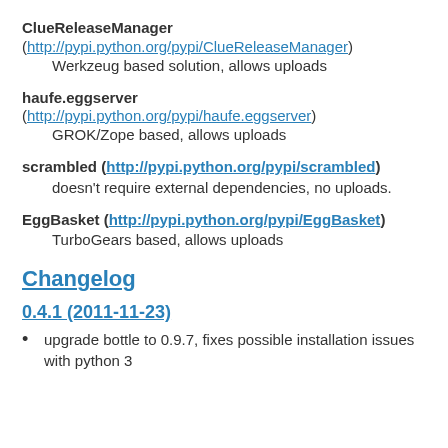ClueReleaseManager (http://pypi.python.org/pypi/ClueReleaseManager)
    Werkzeug based solution, allows uploads
haufe.eggserver (http://pypi.python.org/pypi/haufe.eggserver)
    GROK/Zope based, allows uploads
scrambled (http://pypi.python.org/pypi/scrambled)
    doesn't require external dependencies, no uploads.
EggBasket (http://pypi.python.org/pypi/EggBasket)
    TurboGears based, allows uploads
Changelog
0.4.1 (2011-11-23)
upgrade bottle to 0.9.7, fixes possible installation issues with python 3